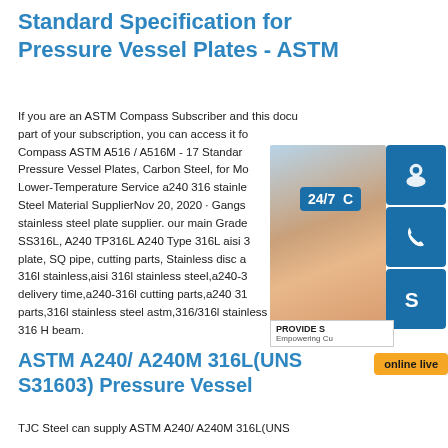Standard Specification for Pressure Vessel Plates - ASTM
If you are an ASTM Compass Subscriber and this docu part of your subscription, you can access it fo Compass ASTM A516 / A516M - 17 Standar Pressure Vessel Plates, Carbon Steel, for Mo Lower-Temperature Service a240 316 stainle Steel Material SupplierNov 20, 2020 · Gangs stainless steel plate supplier. our main Grade SS316L, A240 TP316L A240 Type 316L aisi 3 plate, SQ pipe, cutting parts, Stainless disc a 316l stainless,aisi 316l stainless steel,a240-3 delivery time,a240-316l cutting parts,a240 31 parts,316l stainless steel astm,316/316l stainless steel,316l 316 H beam.
[Figure (infographic): Customer service widget showing a photo of a woman with headset, 24/7 badge, icons for chat/phone/Skype, PROVIDE Empowering Customers text box, and online live button]
ASTM A240/ A240M 316L(UNS S31603) Pressure Vessel
TJC Steel can supply ASTM A240/ A240M 316L(UNS